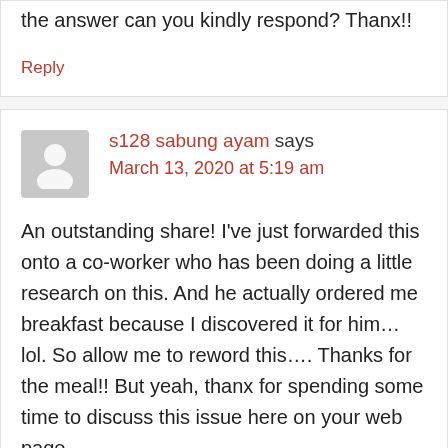the answer can you kindly respond? Thanx!!
Reply
s128 sabung ayam says March 13, 2020 at 5:19 am
An outstanding share! I've just forwarded this onto a co-worker who has been doing a little research on this. And he actually ordered me breakfast because I discovered it for him… lol. So allow me to reword this…. Thanks for the meal!! But yeah, thanx for spending some time to discuss this issue here on your web page.